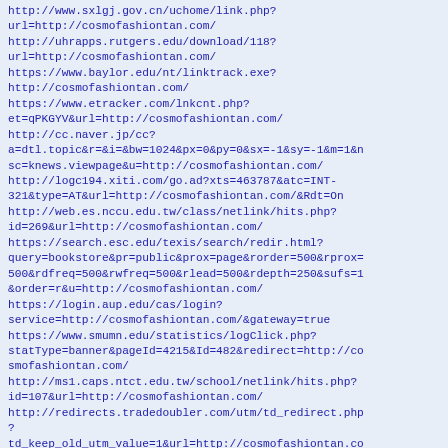http://www.sxlgj.gov.cn/uchome/link.php?url=http://cosmofashiontan.com/
http://uhrapps.rutgers.edu/download/118?url=http://cosmofashiontan.com/
https://www.baylor.edu/nt/linktrack.exe?http://cosmofashiontan.com/
https://www.etracker.com/lnkcnt.php?et=qPKGYV&url=http://cosmofashiontan.com/
http://cc.naver.jp/cc?a=dtl.topic&r=&i=&bw=1024&px=0&py=0&sx=-1&sy=-1&m=1&nsc=knews.viewpage&u=http://cosmofashiontan.com/
http://logc194.xiti.com/go.ad?xts=463787&atc=INT-321&type=AT&url=http://cosmofashiontan.com/&Rdt=On
http://web.es.nccu.edu.tw/class/netlink/hits.php?id=269&url=http://cosmofashiontan.com/
https://search.esc.edu/texis/search/redir.html?query=bookstore&pr=public&prox=page&rorder=500&rprox=500&rdfreq=500&rwfreq=500&rlead=500&rdepth=250&sufs=1&order=r&u=http://cosmofashiontan.com/
https://login.aup.edu/cas/login?service=http://cosmofashiontan.com/&gateway=true
https://www.smumn.edu/statistics/logClick.php?statType=banner&pageId=4215&Id=482&redirect=http://cosmofashiontan.com/
http://ms1.caps.ntct.edu.tw/school/netlink/hits.php?id=107&url=http://cosmofashiontan.com/
http://redirects.tradedoubler.com/utm/td_redirect.php?td_keep_old_utm_value=1&url=http://cosmofashiontan.co